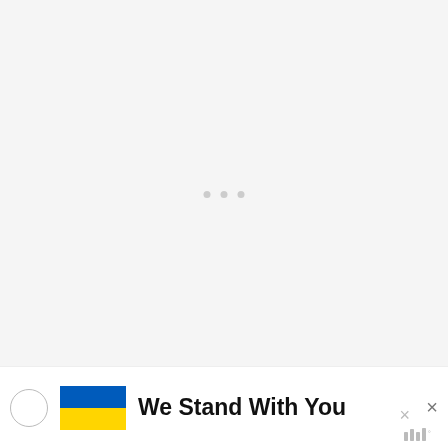[Figure (screenshot): Grey placeholder/loading area at top of page with three small grey dots indicating loading state, and a WW (WeightWatchers) watermark logo in bottom right]
Do you have a favourite way you like to serve SPAM? Do let me know in the comments! You might like to check out the SPAM recipes too:
[Figure (infographic): What's Next box showing a thumbnail of Chilli SPAM & Eggs recipe with label 'WHAT'S NEXT' and arrow]
[Figure (infographic): Bottom banner with Ukrainian flag image and bold text 'We Stand With You', with close buttons and WW watermark]